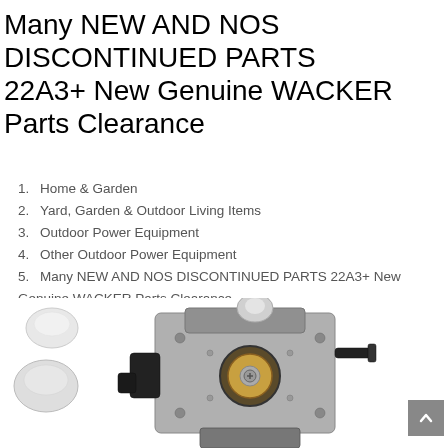Many NEW AND NOS DISCONTINUED PARTS 22A3+ New Genuine WACKER Parts Clearance
1. Home & Garden
2. Yard, Garden & Outdoor Living Items
3. Outdoor Power Equipment
4. Other Outdoor Power Equipment
5. Many NEW AND NOS DISCONTINUED PARTS 22A3+ New Genuine WACKER Parts Clearance
[Figure (photo): Photograph of a carburetor and primer bulbs for outdoor power equipment (Wacker brand parts)]